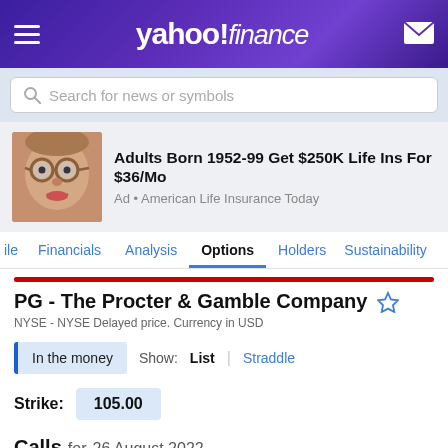yahoo! finance
Search for news or symbols
[Figure (photo): Advertisement photo of an elderly person wearing glasses with large round frames. Ad text: Adults Born 1952-99 Get $250K Life Ins For $36/Mo. Ad • American Life Insurance Today]
ile  Financials  Analysis  Options  Holders  Sustainability
PG - The Procter & Gamble Company
NYSE - NYSE Delayed price. Currency in USD
In the money  Show: List | Straddle
Strike: 105.00
Calls for 26 August 2022